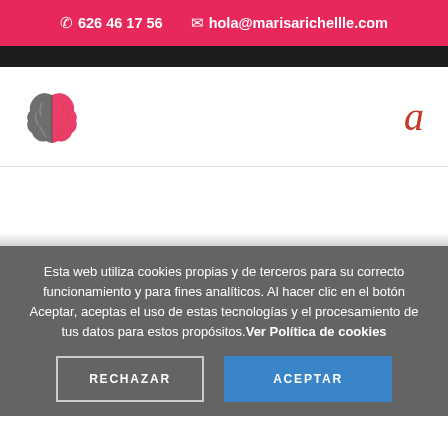📞 626 46 17 56   ✉ hola@marisarichellle.com
[Figure (logo): Brain logo split in two halves: left half dark gray, right half pink/red, representing two brain hemispheres]
a
Esta web utiliza cookies propias y de terceros para su correcto funcionamiento y para fines analíticos. Al hacer clic en el botón Aceptar, aceptas el uso de estas tecnologías y el procesamiento de tus datos para estos propósitos. Ver Política de cookies
RECHAZAR
ACEPTAR